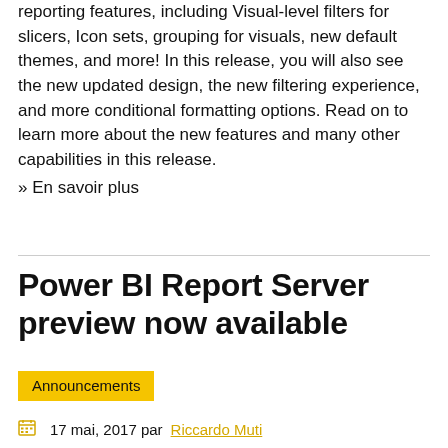reporting features, including Visual-level filters for slicers, Icon sets, grouping for visuals, new default themes, and more! In this release, you will also see the new updated design, the new filtering experience, and more conditional formatting options. Read on to learn more about the new features and many other capabilities in this release.
» En savoir plus
Power BI Report Server preview now available
Announcements
17 mai, 2017 par Riccardo Muti